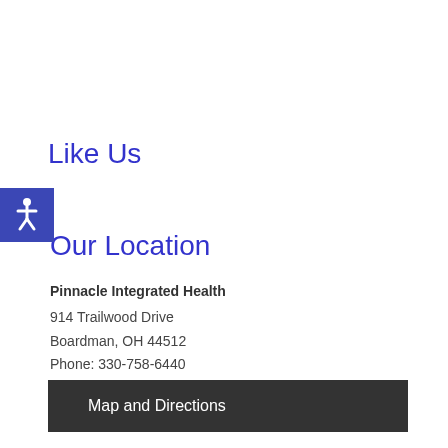Like Us
[Figure (other): Accessibility icon button — blue square with wheelchair symbol]
Our Location
Pinnacle Integrated Health
914 Trailwood Drive
Boardman, OH 44512
Phone: 330-758-6440
Map and Directions